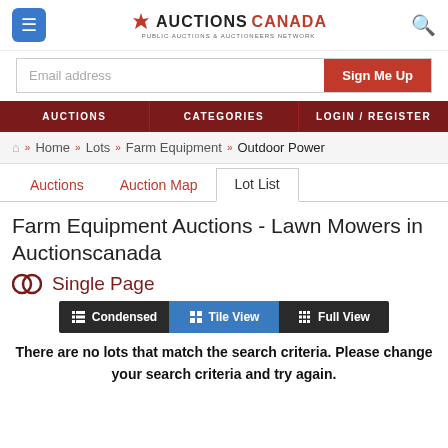[Figure (logo): Auctions Canada logo with maple leaf, navigation menu icon, and search icon]
Email address
Sign Me Up
AUCTIONS   CATEGORIES   LOGIN/REGISTER
Home » Lots » Farm Equipment » Outdoor Power
Auctions   Auction Map   Lot List
Farm Equipment Auctions - Lawn Mowers in Auctionscanada
Single Page
Condensed   Tile View   Full View
There are no lots that match the search criteria. Please change your search criteria and try again.